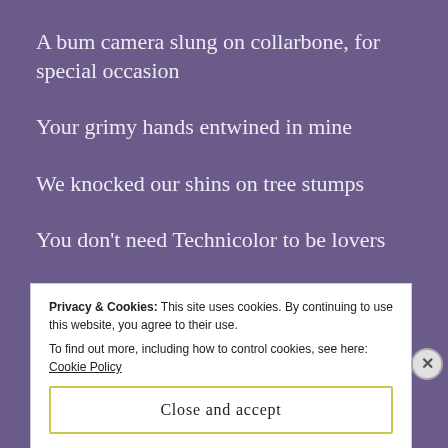A bum camera slung on collarbone, for special occasion
Your grimy hands entwined in mine
We knocked our shins on tree stumps
You don't need Technicolor to be lovers
You took a photo of me nude against the bed
Privacy & Cookies: This site uses cookies. By continuing to use this website, you agree to their use.
To find out more, including how to control cookies, see here: Cookie Policy
Close and accept